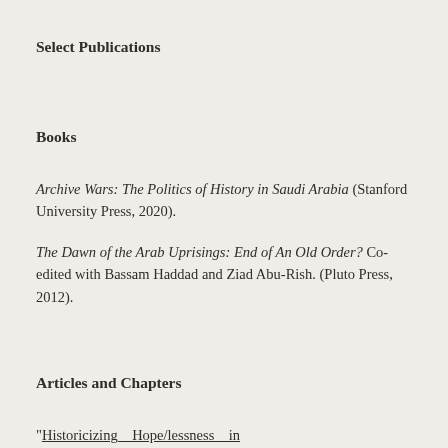Select Publications
Books
Archive Wars: The Politics of History in Saudi Arabia (Stanford University Press, 2020).
The Dawn of the Arab Uprisings: End of An Old Order? Co-edited with Bassam Haddad and Ziad Abu-Rish. (Pluto Press, 2012).
Articles and Chapters
“Historicizing Hope/lessness in